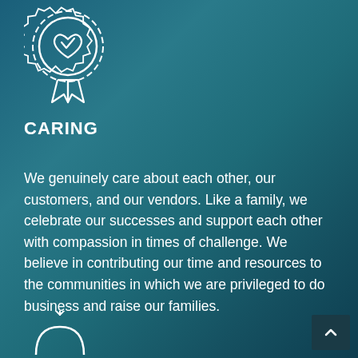[Figure (illustration): White outline icon of a badge/medal with a heart and checkmark inside, with a ribbon below, on teal background]
CARING
We genuinely care about each other, our customers, and our vendors. Like a family, we celebrate our successes and support each other with compassion in times of challenge. We believe in contributing our time and resources to the communities in which we are privileged to do business and raise our families.
[Figure (illustration): White outline icon partially visible at bottom, appears to be another badge/award icon]